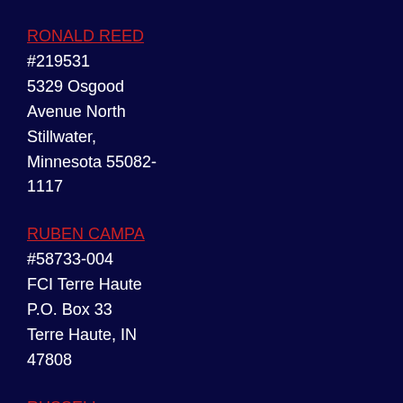RONALD REED
#219531
5329 Osgood Avenue North
Stillwater, Minnesota 55082-1117
RUBEN CAMPA
#58733-004
FCI Terre Haute
P.O. Box 33
Terre Haute, IN 47808
RUSSELL MAROON SHOATS
#AF-3855
175 Proggress Dr.